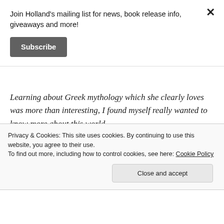Join Holland's mailing list for news, book release info, giveaways and more!
Subscribe
Learning about Greek mythology which she clearly loves was more than interesting, I found myself really wanted to know more about this world.
What advice would you give to new writers in the field?
Privacy & Cookies: This site uses cookies. By continuing to use this website, you agree to their use.
To find out more, including how to control cookies, see here: Cookie Policy
Close and accept